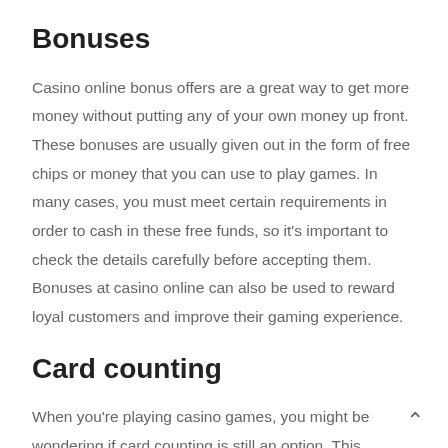Bonuses
Casino online bonus offers are a great way to get more money without putting any of your own money up front. These bonuses are usually given out in the form of free chips or money that you can use to play games. In many cases, you must meet certain requirements in order to cash in these free funds, so it's important to check the details carefully before accepting them. Bonuses at casino online can also be used to reward loyal customers and improve their gaming experience.
Card counting
When you're playing casino games, you might be wondering if card counting is still an option. This